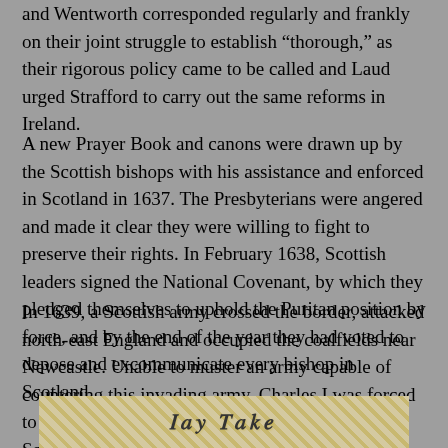and Wentworth corresponded regularly and frankly on their joint struggle to establish “thorough,” as their rigorous policy came to be called and Laud urged Strafford to carry out the same reforms in Ireland.
A new Prayer Book and canons were drawn up by the Scottish bishops with his assistance and enforced in Scotland in 1637. The Presbyterians were angered and made it clear they were willing to fight to preserve their rights. In February 1638, Scottish leaders signed the National Covenant, by which they pledged themselves to uphold the Puritan position by force, and by the end of the year they had voted to depose and excommunicate every bishop in Scotland.
In 1639, a Scottish army crossed the border, attacked north-east England and occupied the coalfields near Newcastle. Unable to muster an army capable of countering this invading army, Charles I was forced to recall Parliament to raise funds to counter the Scots.
[Figure (illustration): Partial view of a historical illustration or engraving, showing decorative text or imagery at the bottom of the page.]